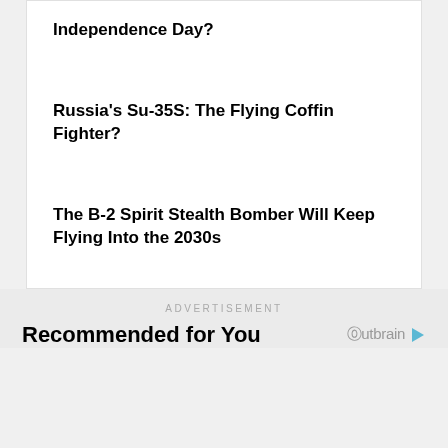Independence Day?
Russia's Su-35S: The Flying Coffin Fighter?
The B-2 Spirit Stealth Bomber Will Keep Flying Into the 2030s
ADVERTISEMENT
Recommended for You
[Figure (logo): Outbrain logo with orange play button icon]